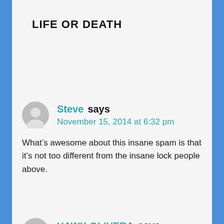LIFE OR DEATH
Steve says
November 15, 2014 at 6:32 pm

What’s awesome about this insane spam is that it’s not too different from the insane lock people above.
HAWK OLIVERA says
January 5, 2015 at 2:53 pm